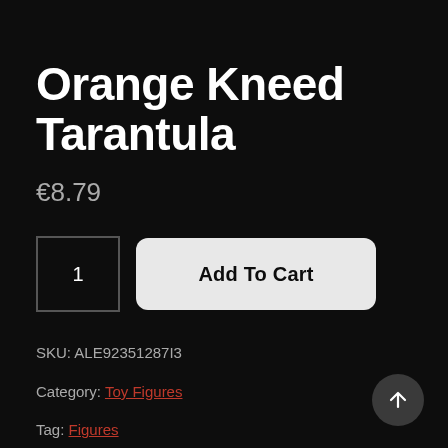Orange Kneed Tarantula
€8.79
1
Add To Cart
SKU: ALE92351287I3
Category: Toy Figures
Tag: Figures